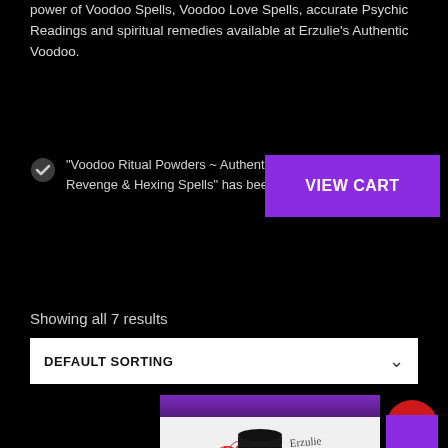power of Voodoo Spells, Voodoo Love Spells, accurate Psychic Readings and spiritual remedies available at Erzulie's Authentic Voodoo.
"Voodoo Ritual Powders ~ Authentic Graveyard Dirt for Revenge & Hexing Spells" has been added to your cart.
VIEW CART
Showing all 7 results
DEFAULT SORTING
[Figure (photo): Product image showing a black puck-like container with red fibers, on a white/purple background with Erzulie script text, and a red SALE! badge with purple square overlay]